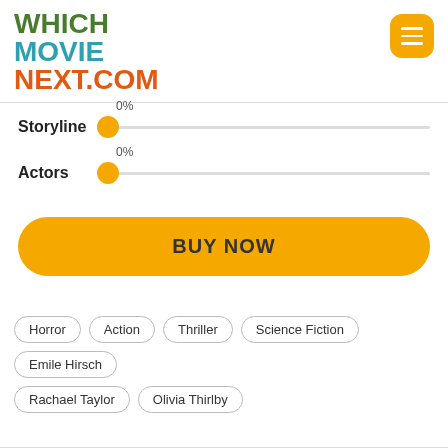WHICH MOVIE NEXT.COM
Storyline 0%
Actors 0%
BUY NOW
Horror
Action
Thriller
Science Fiction
Emile Hirsch
Rachael Taylor
Olivia Thirlby